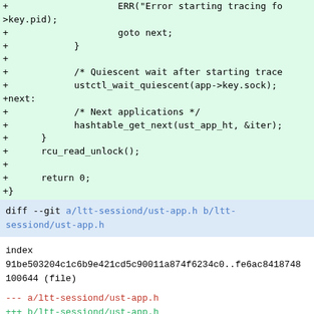Code diff showing added lines in green background: goto next, closing brace, quiescent wait comment, ustctl_wait_quiescent call, next: label, Next applications comment, hashtable_get_next call, closing braces, rcu_read_unlock, return 0, closing brace
diff --git a/ltt-sessiond/ust-app.h b/ltt-sessiond/ust-app.h
index 91be503204c1c6b9e421cd5c90011a874f6234c0..fe6ac8418748100644 (file)
--- a/ltt-sessiond/ust-app.h
+++ b/ltt-sessiond/ust-app.h
@@ -37,6 +37,9 @@ struct ust_register_msg {